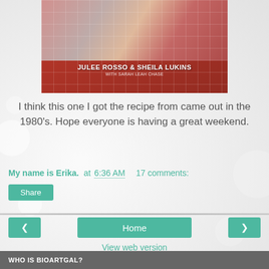[Figure (photo): A photograph of a cookbook cover with a red plaid/grid border design featuring food photography at the top, with text reading 'JULEE ROSSO & SHEILA LUKINS WITH SARAH LEAH CHASE' on a dark red background]
I think this one I got the recipe from came out in the 1980's. Hope everyone is having a great weekend.
My name is Erika. at 6:36 AM    17 comments:
Share
Home
View web version
WHO IS BIOARTGAL?